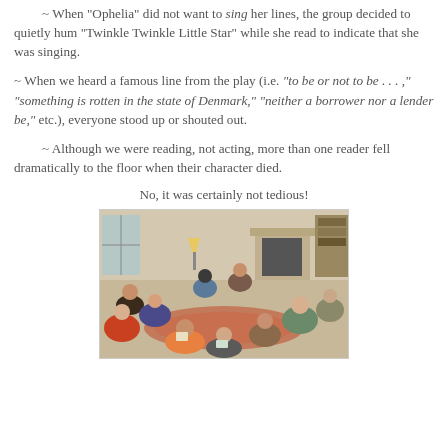~ When "Ophelia" did not want to sing her lines, the group decided to quietly hum "Twinkle Twinkle Little Star" while she read to indicate that she was singing.
~ When we heard a famous line from the play (i.e. "to be or not to be . . . ," "something is rotten in the state of Denmark," "neither a borrower nor a lender be," etc.), everyone stood up or shouted out.
~ Although we were reading, not acting, more than one reader fell dramatically to the floor when their character died.
No, it was certainly not tedious!
[Figure (photo): Group of children and adults sitting in a circle in a living room, apparently doing a group reading session. They are seated on chairs and the floor around a rug.]